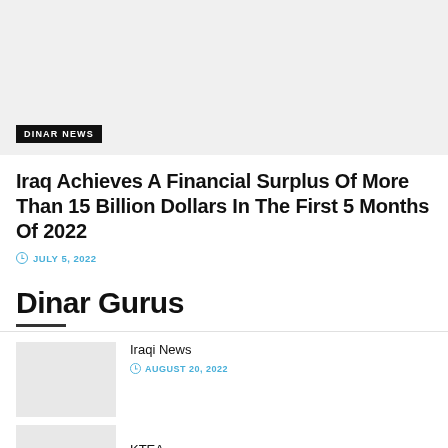[Figure (photo): Gray placeholder image for a news article thumbnail with 'DINAR NEWS' badge overlay at bottom left]
Iraq Achieves A Financial Surplus Of More Than 15 Billion Dollars In The First 5 Months Of 2022
JULY 5, 2022
Dinar Gurus
Iraqi News
AUGUST 20, 2022
KTEA